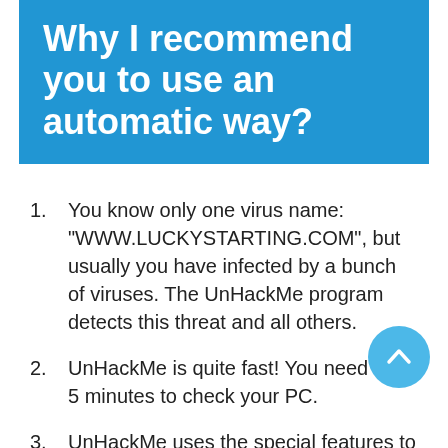Why I recommend you to use an automatic way?
You know only one virus name: "WWW.LUCKYSTARTING.COM", but usually you have infected by a bunch of viruses. The UnHackMe program detects this threat and all others.
UnHackMe is quite fast! You need only 5 minutes to check your PC.
UnHackMe uses the special features to remove hard in removal viruses. If you remove a virus manually, it can prevent deleting using a self-protecting module. If you even delete the virus, it may recreate himself by a stealthy module.
UnHackMe is small and compatible with any